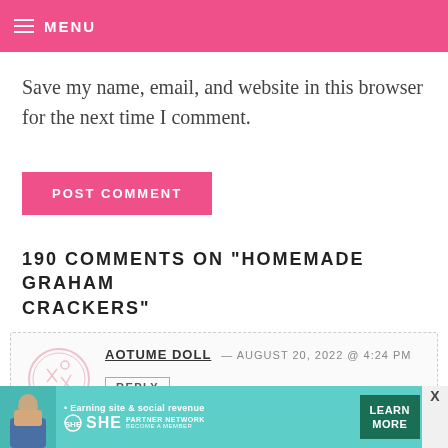MENU
Save my name, email, and website in this browser for the next time I comment.
POST COMMENT
190 COMMENTS ON “HOMEMADE GRAHAM CRACKERS”
AOTUME DOLL — AUGUST 20, 2022 @ 4:24 PM
REPLY
AOTUME DOLL 11 Tips On the next...
[Figure (infographic): Advertisement banner for SHE Partner Network: Earning site & social revenue. Shows a woman, SHE logo, PARTNER NETWORK, BECOME A MEMBER, and LEARN MORE button.]